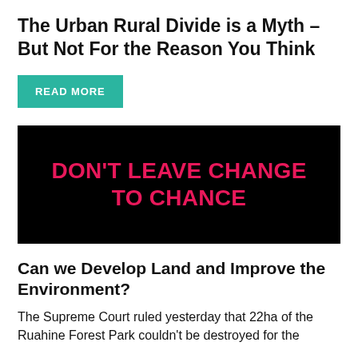The Urban Rural Divide is a Myth – But Not For the Reason You Think
READ MORE
[Figure (infographic): Black banner image with bold pink text reading 'DON'T LEAVE CHANGE TO CHANCE']
Can we Develop Land and Improve the Environment?
The Supreme Court ruled yesterday that 22ha of the Ruahine Forest Park couldn't be destroyed for the